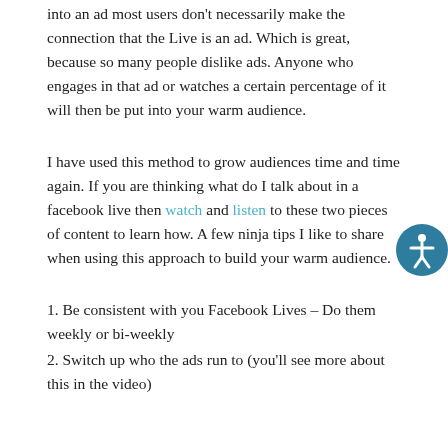into an ad most users don't necessarily make the connection that the Live is an ad. Which is great, because so many people dislike ads. Anyone who engages in that ad or watches a certain percentage of it will then be put into your warm audience.
I have used this method to grow audiences time and time again. If you are thinking what do I talk about in a facebook live then watch and listen to these two pieces of content to learn how. A few ninja tips I like to share when using this approach to build your warm audience.
1. Be consistent with you Facebook Lives – Do them weekly or bi-weekly
2. Switch up who the ads run to (you'll see more about this in the video)